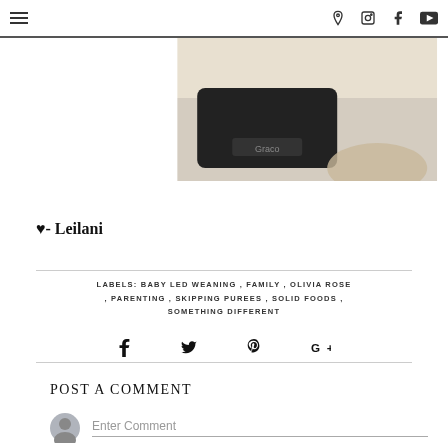navigation header with hamburger menu and social icons (Pinterest, camera, Facebook, YouTube)
[Figure (photo): Close-up photo of a black Graco device/object on a light beige surface, partially cropped]
♥- Leilani
LABELS: BABY LED WEANING , FAMILY , OLIVIA ROSE , PARENTING , SKIPPING PUREES , SOLID FOODS , SOMETHING DIFFERENT
Social share icons: Facebook, Twitter, Pinterest, Google+
POST A COMMENT
Enter Comment